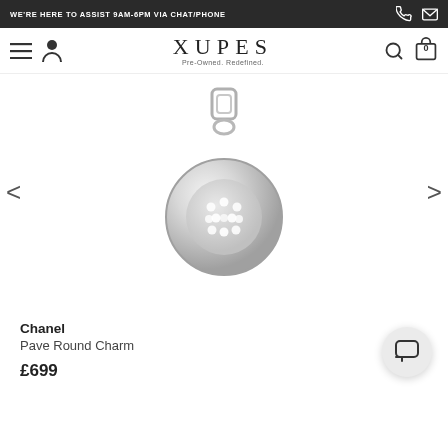WE'RE HERE TO ASSIST 9AM-6PM VIA CHAT/PHONE
XUPES Pre-Owned. Redefined.
[Figure (photo): Chanel Pave Round Charm – a circular silver pendant with pavé diamond center, hanging from a bail, on a white background]
Chanel
Pave Round Charm
£699